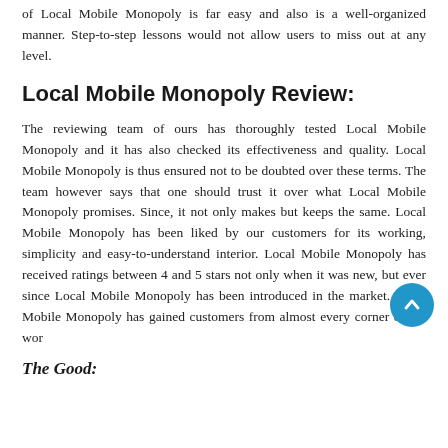of Local Mobile Monopoly is far easy and also is a well-organized manner. Step-to-step lessons would not allow users to miss out at any level.
Local Mobile Monopoly Review:
The reviewing team of ours has thoroughly tested Local Mobile Monopoly and it has also checked its effectiveness and quality. Local Mobile Monopoly is thus ensured not to be doubted over these terms. The team however says that one should trust it over what Local Mobile Monopoly promises. Since, it not only makes but keeps the same. Local Mobile Monopoly has been liked by our customers for its working, simplicity and easy-to-understand interior. Local Mobile Monopoly has received ratings between 4 and 5 stars not only when it was new, but ever since Local Mobile Monopoly has been introduced in the market. Local Mobile Monopoly has gained customers from almost every corner of the wor
The Good: